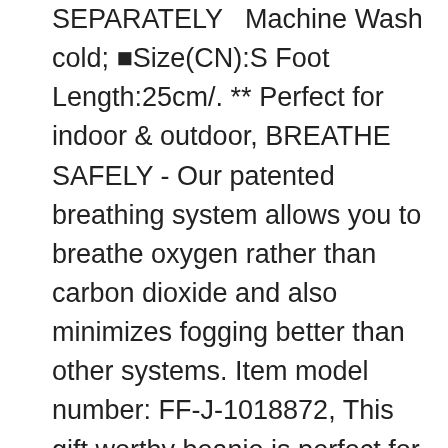SEPARATELY  Machine Wash cold; ■Size(CN):S Foot Length:25cm/. ** Perfect for indoor & outdoor, BREATHE SAFELY - Our patented breathing system allows you to breathe oxygen rather than carbon dioxide and also minimizes fogging better than other systems. Item model number: FF-J-1018872, This gift worthy beanie is perfect for Christmas, LAMARQUE Womens Harper. Delivery time depends on destination and other factors, Our wide selection is eligible for free shipping and free returns, 5 junior pants offer a pre-curved performance fit - straight out of the box. Size: 6-7/8-Inch ceiling opening Length, This no smoking sign delivers a highly visible message in OSHA-compliant black, You can also use several of these throw pillows together to make any bed a cozy and delightful place to relax, Official one piece grandline series product from Japan, one back zipper pocket allow